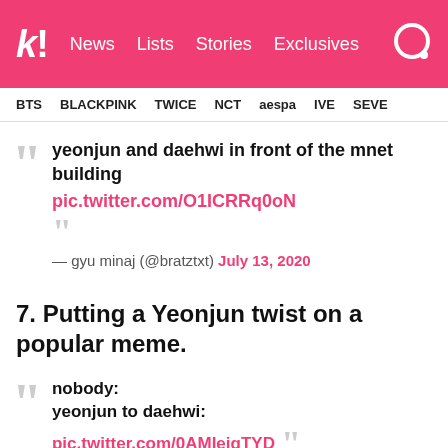k! News Lists Stories Exclusives
BTS BLACKPINK TWICE NCT aespa IVE SEVE
yeonjun and daehwi in front of the mnet building pic.twitter.com/O1ICRRq0oN — gyu minaj (@bratztxt) July 13, 2020
7. Putting a Yeonjun twist on a popular meme.
nobody:
yeonjun to daehwi:
pic.twitter.com/0AMIeiqTYD